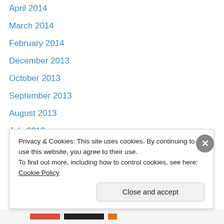April 2014
March 2014
February 2014
December 2013
October 2013
September 2013
August 2013
July 2013
June 2013
May 2013
April 2013
March 2013
February 2013
Privacy & Cookies: This site uses cookies. By continuing to use this website, you agree to their use. To find out more, including how to control cookies, see here: Cookie Policy
Close and accept